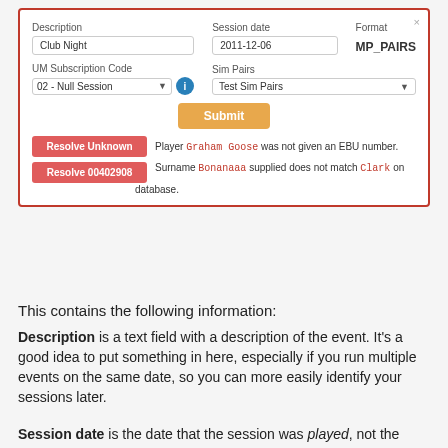[Figure (screenshot): A UI form screenshot showing fields: Description (Club Night), Session date (2011-12-06), Format (MP_PAIRS), UM Subscription Code (02 - Null Session), Sim Pairs (Test Sim Pairs), a Submit button, and two resolve error rows: Resolve Unknown and Resolve 00402908.]
This contains the following information:
Description is a text field with a description of the event. It's a good idea to put something in here, especially if you run multiple events on the same date, so you can more easily identify your sessions later.
Session date is the date that the session was played, not the date that the session is being submitted.